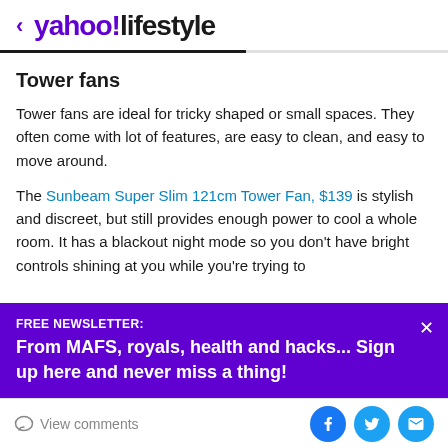< yahoo!lifestyle
Tower fans
Tower fans are ideal for tricky shaped or small spaces. They often come with lot of features, are easy to clean, and easy to move around.
The Sunbeam Super Slim 121cm Tower Fan, $139 is stylish and discreet, but still provides enough power to cool a whole room. It has a blackout night mode so you don't have bright controls shining at you while you're trying to
FREE NEWSLETTER:
From MAFS, royals, health and hacks... Sign up here and never miss a thing!
View comments